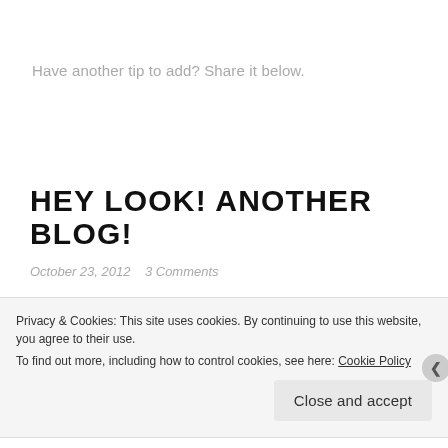Have another tip to add? Share it below.
HEY LOOK! ANOTHER BLOG!
October 23, 2012    3 Comments
I've had a number of blogs over the years. Most abandoned after I lose the original premise. (Or I finish the project...
Privacy & Cookies: This site uses cookies. By continuing to use this website, you agree to their use.
To find out more, including how to control cookies, see here: Cookie Policy
Close and accept